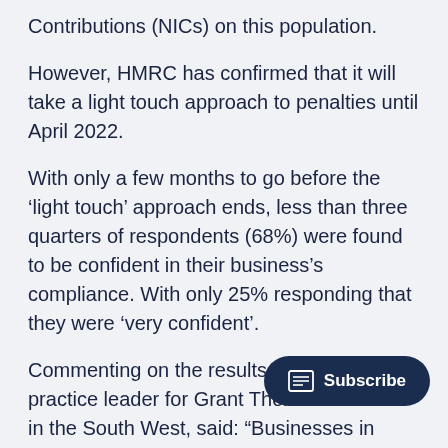Contributions (NICs) on this population.
However, HMRC has confirmed that it will take a light touch approach to penalties until April 2022.
With only a few months to go before the ‘light touch’ approach ends, less than three quarters of respondents (68%) were found to be confident in their business’s compliance. With only 25% responding that they were ‘very confident’.
Commenting on the results, Jonathan Riley, practice leader for Grant Thornton UK LLP in the South West, said: “Businesses in have been dealing with a roller coaster of changes, upheavals and challenges over the past